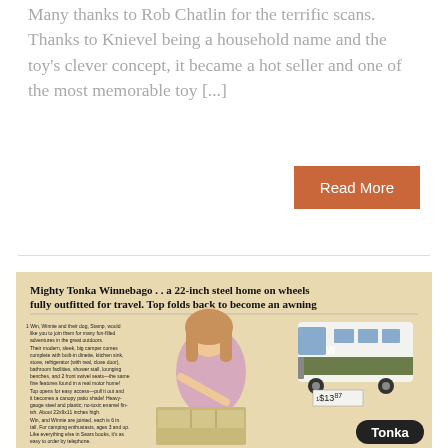Many thanks to Rob Chatlin for the terrific scans. Thanks to Knievel being a household name and the toy's clever concept, it became a hot seller and one of the most memorable toy [...]
Read More
[Figure (photo): Vintage Sears catalog advertisement for the Mighty Tonka Winnebago toy. Headline reads: 'Mighty Tonka Winnebago . . a 22-inch steel home on wheels fully outfitted for travel. Top folds back to become an awning'. Shows a young girl playing with the toy RV, a product photo of the white and green Winnebago toy, small numbered text description, and a price of $13.87. Tonka logo appears at bottom right.]